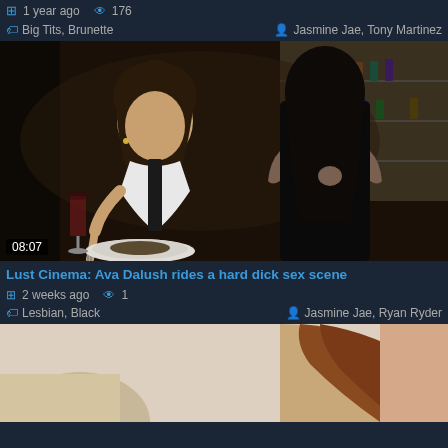1 year ago  176
Big Tits, Brunette    Jasmine Jae, Tony Martinez
[Figure (photo): Video thumbnail showing two women at a restaurant dining scene, one in white dress, one in black, duration badge 08:07]
Lust Cinema: Ava Dalush rides a hard dick sex scene
2 weeks ago  1
Lesbian, Black    Jasmine Jae, Ryan Ryder
[Figure (photo): Video thumbnail showing persons in a light-colored room scene, partially visible]